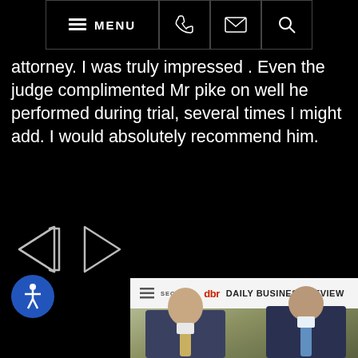MENU (navigation bar with phone, email, search icons)
attorney. I was truly impressed . Even the judge complimented Mr pike on well he performed during trial, several times I might add. I would absolutely recommend him.
[Figure (other): Left and right navigation arrow icons (chevrons) for scrolling through testimonials]
[Figure (screenshot): Screenshot of Daily Business Review (dbr) website header and a photo of two male attorneys in suits standing outdoors with palm trees in background]